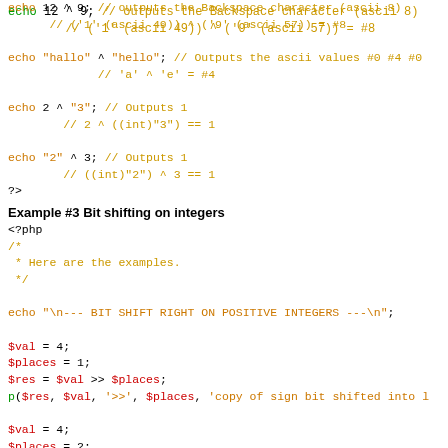echo 12 ^ 9; // outputs the Backspace character (ascii 8)
// ('1' (ascii 49)) ^ ('9' (ascii 57)) = #8
echo "hallo" ^ "hello"; // Outputs the ascii values #0 #4 #0
// 'a' ^ 'e' = #4
echo 2 ^ "3"; // Outputs 1
// 2 ^ ((int)"3") == 1
echo "2" ^ 3; // Outputs 1
// ((int)"2") ^ 3 == 1
?>
Example #3 Bit shifting on integers
<?php
/*
 * Here are the examples.
 */

echo "\n--- BIT SHIFT RIGHT ON POSITIVE INTEGERS ---\n";

$val = 4;
$places = 1;
$res = $val >> $places;
p($res, $val, '>>', $places, 'copy of sign bit shifted into l

$val = 4;
$places = 2;
$res = $val >> $places;
p($res, $val, '>>', $places);

$val = 4;
$places = 3;